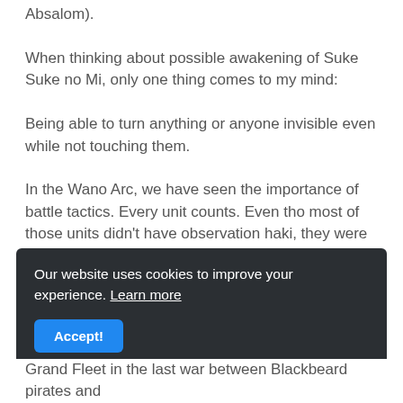Absalom).
When thinking about possible awakening of Suke Suke no Mi, only one thing comes to my mind:
Being able to turn anything or anyone invisible even while not touching them.
In the Wano Arc, we have seen the importance of battle tactics. Every unit counts. Even tho most of those units didn't have observation haki, they were still important assets to their captains and allies.
So now imagine 5000 invisible units ambushing 5000
Our website uses cookies to improve your experience. Learn more
Accept!
Grand Fleet in the last war between Blackbeard pirates and